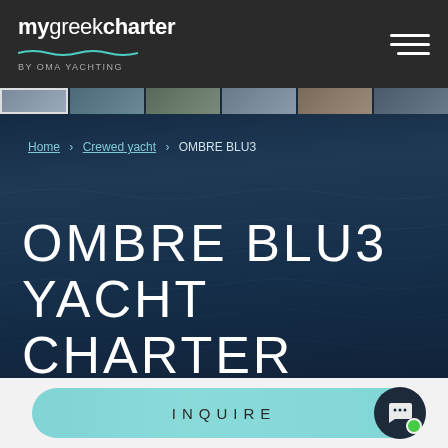mygreekcharter by OMA YACHTING
[Figure (screenshot): Thumbnail strip of yacht images at top of page]
Home › Crewed yacht › OMBRE BLU3
OMBRE BLU3 YACHT CHARTER
INQUIRE